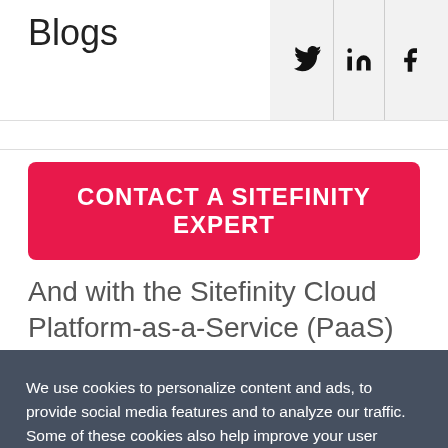Blogs
[Figure (infographic): Social media icons bar with Twitter, LinkedIn, and Facebook icons on grey background]
CONTACT A SITEFINITY EXPERT
And with the Sitefinity Cloud Platform-as-a-Service (PaaS) infrastructure, you're able to achieve a high level of
We use cookies to personalize content and ads, to provide social media features and to analyze our traffic. Some of these cookies also help improve your user experience on our websites, assist with navigation and your ability to provide feedback, and assist with our promotional and marketing efforts. Please read our Cookie Policy for a more detailed description and click on the settings button to customize how the site uses cookies for you.
ACCEPT COOKIES
COOKIES SETTINGS